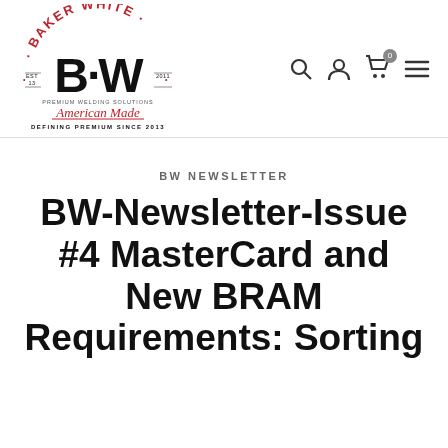[Figure (logo): Baker White logo with red arch text 'BAKER WHITE', large BW monogram, 'Premium Welding Solutions', 'American Made' in red script, and 'DEFINING PREMIUM SINCE 2013' text]
BW NEWSLETTER
BW-Newsletter-Issue #4 MasterCard and New BRAM Requirements: Sorting